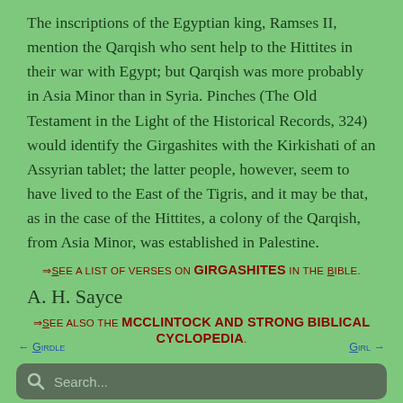The inscriptions of the Egyptian king, Ramses II, mention the Qarqish who sent help to the Hittites in their war with Egypt; but Qarqish was more probably in Asia Minor than in Syria. Pinches (The Old Testament in the Light of the Historical Records, 324) would identify the Girgashites with the Kirkishati of an Assyrian tablet; the latter people, however, seem to have lived to the East of the Tigris, and it may be that, as in the case of the Hittites, a colony of the Qarqish, from Asia Minor, was established in Palestine.
⇒See a list of verses on GIRGASHITES in the Bible.
A. H. Sayce
⇒See also the McClintock and Strong Biblical Cyclopedia.
← Girdle
Girl →